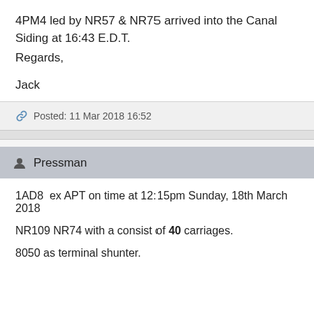4PM4 led by NR57 & NR75 arrived into the Canal Siding at 16:43 E.D.T.
Regards,

Jack
Posted: 11 Mar 2018 16:52
Pressman
1AD8  ex APT on time at 12:15pm Sunday, 18th March 2018
NR109 NR74 with a consist of 40 carriages.
8050 as terminal shunter.